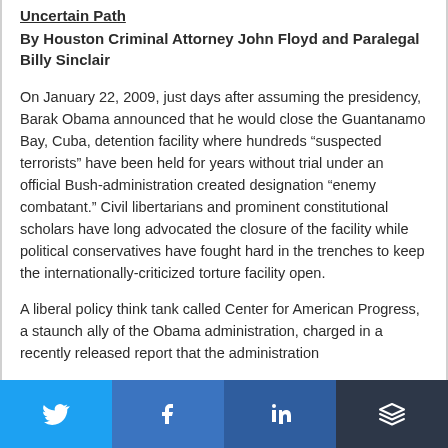Uncertain Path
By Houston Criminal Attorney John Floyd and Paralegal Billy Sinclair
On January 22, 2009, just days after assuming the presidency, Barak Obama announced that he would close the Guantanamo Bay, Cuba, detention facility where hundreds “suspected terrorists” have been held for years without trial under an official Bush-administration created designation “enemy combatant.” Civil libertarians and prominent constitutional scholars have long advocated the closure of the facility while political conservatives have fought hard in the trenches to keep the internationally-criticized torture facility open.
A liberal policy think tank called Center for American Progress, a staunch ally of the Obama administration, charged in a recently released report that the administration